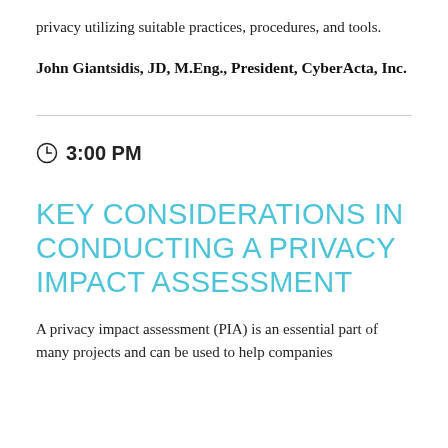privacy utilizing suitable practices, procedures, and tools.
John Giantsidis, JD, M.Eng., President, CyberActa, Inc.
3:00 PM
KEY CONSIDERATIONS IN CONDUCTING A PRIVACY IMPACT ASSESSMENT
A privacy impact assessment (PIA) is an essential part of many projects and can be used to help companies